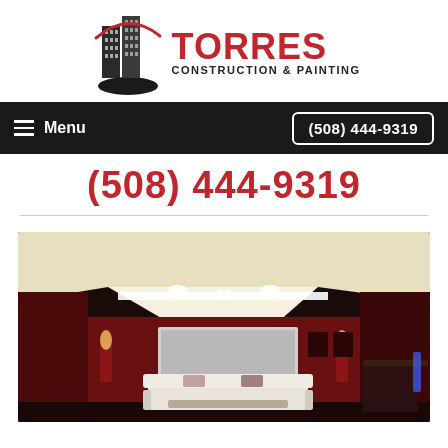[Figure (logo): Torres Construction & Painting logo with stylized building graphic and red swoosh]
Menu  (508) 444-9319
(508) 444-9319
[Figure (photo): Interior photo of a luxury home theater room with dark red walls, recessed ceiling lighting, projection screen, white sofa, and bar area]